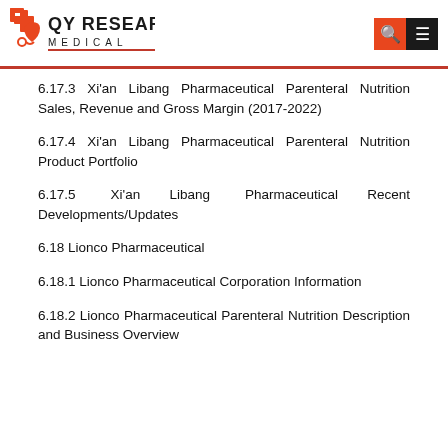QY Research Medical
6.17.3 Xi'an Libang Pharmaceutical Parenteral Nutrition Sales, Revenue and Gross Margin (2017-2022)
6.17.4 Xi'an Libang Pharmaceutical Parenteral Nutrition Product Portfolio
6.17.5 Xi'an Libang Pharmaceutical Recent Developments/Updates
6.18 Lionco Pharmaceutical
6.18.1 Lionco Pharmaceutical Corporation Information
6.18.2 Lionco Pharmaceutical Parenteral Nutrition Description and Business Overview